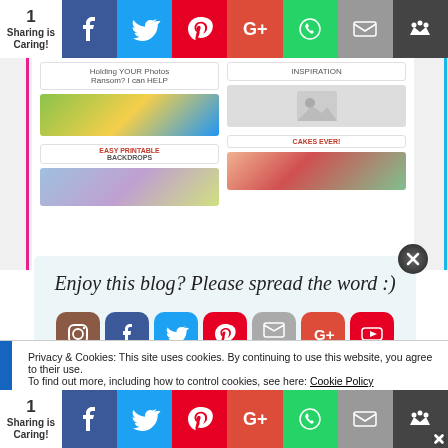[Figure (screenshot): Top social sharing bar with share count '1 Sharing is Caring!' and icons for Facebook, Twitter, Pinterest, Google+, WhatsApp, Email, Crown]
[Figure (screenshot): Website content background with two-column layout showing blog post cards including 'Holding YOUR Photos Ransom? I can HELP' and 'INSPIRATION' headings, with thumbnail images and 'BACKDROPS' text]
[Figure (screenshot): Popup overlay with script text 'Enjoy this blog? Please spread the word :)' and social media icons for Instagram, Facebook, Twitter, Pinterest, Email/Follow, Google+, YouTube, with close button]
Privacy & Cookies: This site uses cookies. By continuing to use this website, you agree to their use.
To find out more, including how to control cookies, see here: Cookie Policy
[Figure (screenshot): Bottom social sharing bar identical to top bar with share count '1 Sharing is Caring!' and same social icons]